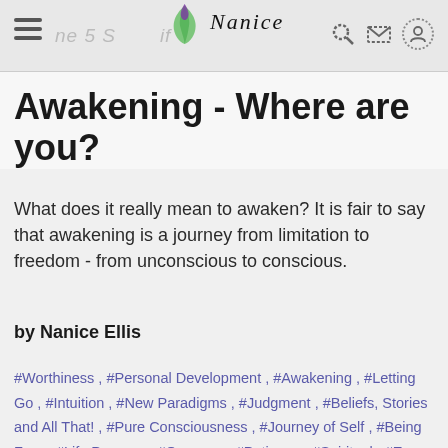Nanice (logo/website header with hamburger menu and search/mail/user icons)
Awakening - Where are you?
What does it really mean to awaken? It is fair to say that awakening is a journey from limitation to freedom - from unconscious to conscious.
by Nanice Ellis
#Worthiness , #Personal Development , #Awakening , #Letting Go , #Intuition , #New Paradigms , #Judgment , #Beliefs, Stories and All That! , #Pure Consciousness , #Journey of Self , #Being Free , #Life Purpose , #Oneness , #Patience , #Spiritual , #Ego , #Behavior ,